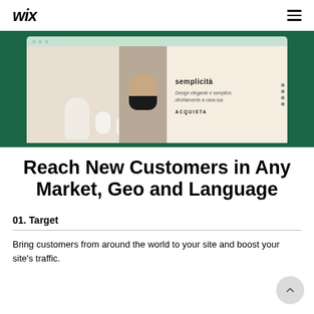Wix
[Figure (screenshot): A Wix website preview screenshot showing an Italian e-commerce site with white ceramic bathroom products on the left and Italian text 'semplicità / Design elegante e semplice, direttamente a casa tua / ACQUISTA' on the right, displayed against a dark green background.]
Reach New Customers in Any Market, Geo and Language
01. Target
Bring customers from around the world to your site and boost your site's traffic.